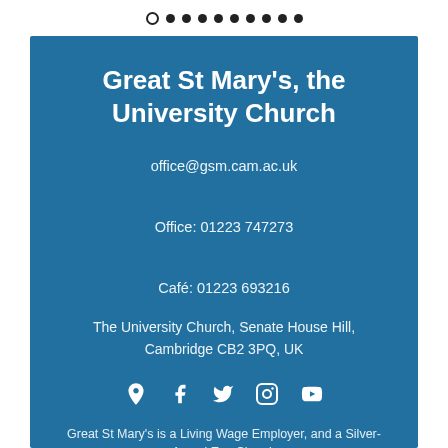○ • • • • • • • • •
Great St Mary's, the University Church
office@gsm.cam.ac.uk

Office: 01223 747273

Café: 01223 693216
The University Church, Senate House Hill, Cambridge CB2 3PQ, UK
[Figure (other): Social media icons: location pin, Facebook, Twitter, Instagram, YouTube]
Great St Mary's is a Living Wage Employer, and a Silver-Award Eco Church